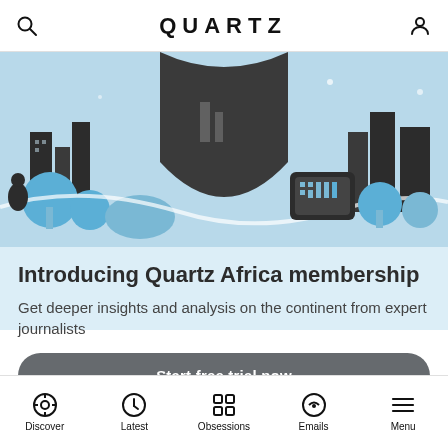QUARTZ
[Figure (illustration): Colorful illustrated banner showing African city scenes with blue, dark gray, and beige tones — buildings, trees, people, and a mobile device display.]
Introducing Quartz Africa membership
Get deeper insights and analysis on the continent from expert journalists
Start free trial now
POPULAR STORIES
Discover  Latest  Obsessions  Emails  Menu